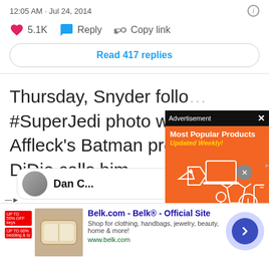12:05 AM · Jul 24, 2014
❤ 5.1K   Reply   Copy link
Read 417 replies
Thursday, Snyder follo #SuperJedi photo with Affleck's Batman profile DiDio calls him.
[Figure (screenshot): Advertisement overlay with orange background showing 'Most Popular Products Updated Weekly!' with product icons]
[Figure (screenshot): Belk.com ad banner at the bottom: 'Belk.com - Belk® - Official Site, Shop for clothing, handbags, jewelry, beauty, home & more! www.belk.com']